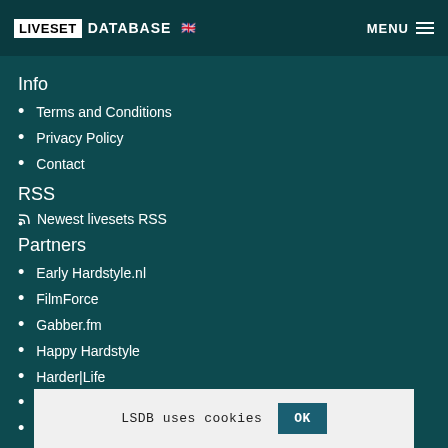LIVESET DATABASE MENU
Info
Terms and Conditions
Privacy Policy
Contact
RSS
Newest livesets RSS
Partners
Early Hardstyle.nl
FilmForce
Gabber.fm
Happy Hardstyle
Harder|Life
HarderStylez
Hardstation.fm
Hardtraxx
Liveset
LSDB uses cookies OK